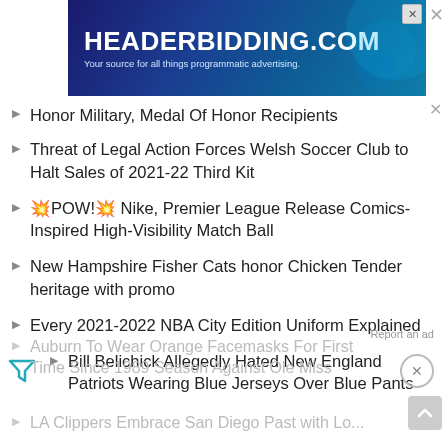[Figure (other): HEADERBIDDING.COM advertisement banner with blue gradient background, white bold text title and subtitle 'Your source for all things programmatic advertising.']
Honor Military, Medal Of Honor Recipients
Threat of Legal Action Forces Welsh Soccer Club to Halt Sales of 2021-22 Third Kit
💥POW!💥 Nike, Premier League Release Comics-Inspired High-Visibility Match Ball
New Hampshire Fisher Cats honor Chicken Tender heritage with promo
Every 2021-2022 NBA City Edition Uniform Explained
Bill Belichick Allegedly Hated New England Patriots Wearing Blue Jerseys Over Blue Pants
Auburn To Wear Orange Facemasks For First Time Since 1989 Season Against Ole Miss
LA Clippers Embrace San Diego Past with Lo...